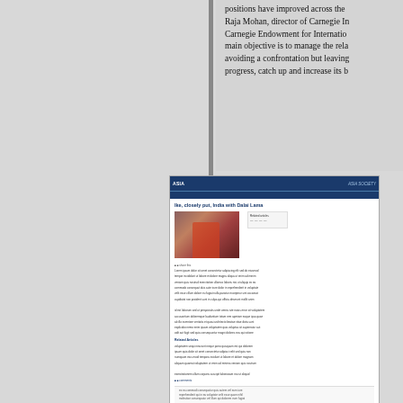positions have improved across the ... Raja Mohan, director of Carnegie In... Carnegie Endowment for Internatio... main objective is to manage the rela... avoiding a confrontation but leaving... progress, catch up and increase its b...
[Figure (screenshot): Screenshot of an Asia Society webpage showing an article with a photo of the Dalai Lama greeting someone, with article text and website navigation visible. The page has a dark blue header and footer.]